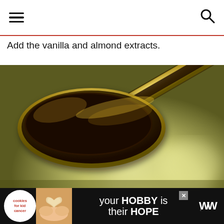Add the vanilla and almond extracts.
[Figure (photo): Close-up photo of a spoon filled with dark brown vanilla extract being held over a bowl, with warm yellow-green bokeh background]
[Figure (infographic): Advertisement banner: 'cookies for kid cancer' logo on left, photo of heart-shaped cookie in hands, text reads 'your HOBBY is their HOPE' in white on black background, close button X, and WW logo on right]